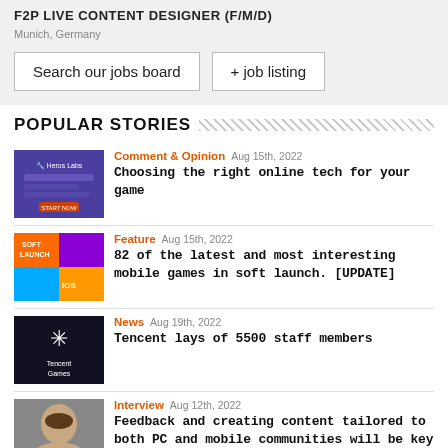F2P LIVE CONTENT DESIGNER (F/M/D)
Munich, Germany
Search our jobs board
+ job listing
POPULAR STORIES
Comment & Opinion  Aug 15th, 2022
Choosing the right online tech for your game
Feature  Aug 15th, 2022
82 of the latest and most interesting mobile games in soft launch. [UPDATE]
News  Aug 19th, 2022
Tencent lays of 5500 staff members
Interview  Aug 12th, 2022
Feedback and creating content tailored to both PC and mobile communities will be key to 505 Games' F2P Future
News  Aug 18th, 2022
Acnic services over for nearly $100 million